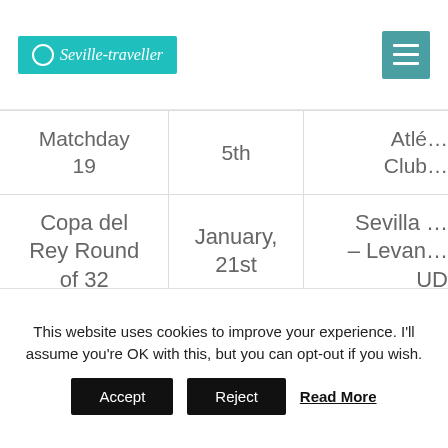Seville-traveller [logo] [hamburger menu]
| Competition | Date | Match |
| --- | --- | --- |
| Matchday 19 | 5th | Atléti… / Club… |
| Copa del Rey Round of 32 | January, 21st | Sevilla … – Levan… UD |
| La Liga Matchday 21 | January, 26th | Sevilla … – Grana… CF |
This website uses cookies to improve your experience. I'll assume you're OK with this, but you can opt-out if you wish.
Accept   Reject   Read More